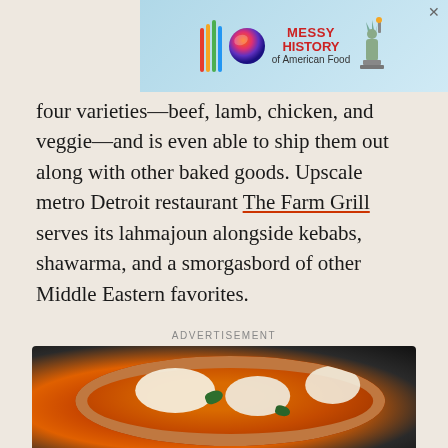[Figure (photo): Advertisement banner for 'Messy History of American Food' featuring colorful logo with vertical bars and sphere, red text, and Statue of Liberty illustration on a light blue background]
four varieties—beef, lamb, chicken, and veggie—and is even able to ship them out along with other baked goods. Upscale metro Detroit restaurant The Farm Grill serves its lahmajoun alongside kebabs, shawarma, and a smorgasbord of other Middle Eastern favorites.
ADVERTISEMENT
[Figure (photo): A pizza with tomato sauce, large mozzarella cheese pieces, and fresh basil leaves on a dark round plate, photographed from above]